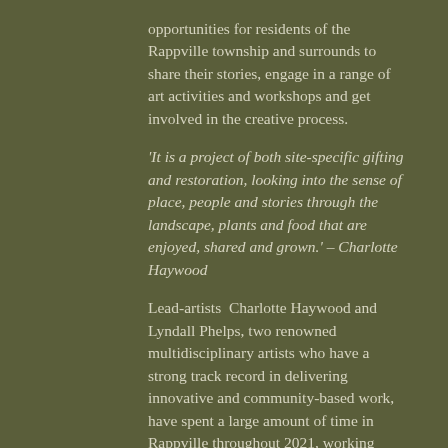opportunities for residents of the Rappville township and surrounds to share their stories, engage in a range of art activities and workshops and get involved in the creative process.
'It is a project of both site-specific gifting and restoration, looking into the sense of place, people and stories through the landscape, plants and food that are enjoyed, shared and grown.' – Charlotte Haywood
Lead-artists  Charlotte Haywood and Lyndall Phelps, two renowned multidisciplinary artists who have a strong track record in delivering innovative and community-based work, have spent a large amount of time in Rappville throughout 2021, working alongside community members in the development of permanent and temporary artworks.